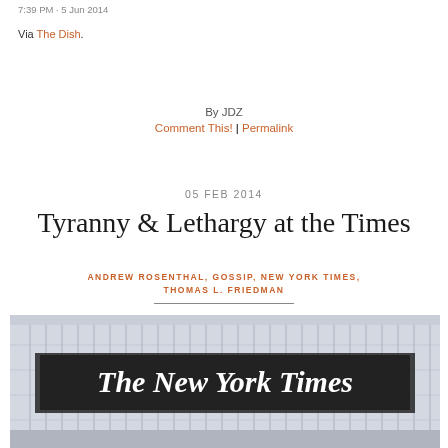7:39 PM - 5 Jun 2014
Via The Dish.
By JDZ
Comment This! | Permalink
05 FEB 2014
Tyranny & Lethargy at the Times
ANDREW ROSENTHAL, GOSSIP, NEW YORK TIMES, THOMAS L. FRIEDMAN
[Figure (photo): Photo of The New York Times building facade showing the newspaper's gothic-style logo 'The New York Times' on a glass and steel structure]